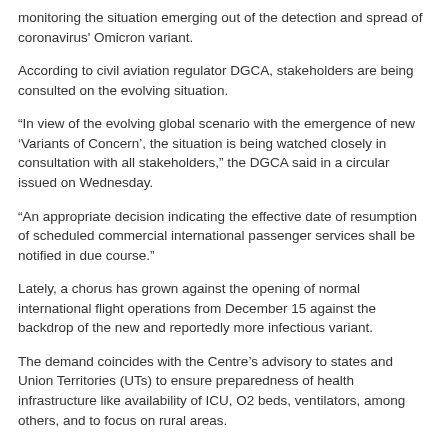monitoring the situation emerging out of the detection and spread of coronavirus' Omicron variant.
According to civil aviation regulator DGCA, stakeholders are being consulted on the evolving situation.
“In view of the evolving global scenario with the emergence of new ‘Variants of Concern’, the situation is being watched closely in consultation with all stakeholders,” the DGCA said in a circular issued on Wednesday.
“An appropriate decision indicating the effective date of resumption of scheduled commercial international passenger services shall be notified in due course.”
Lately, a chorus has grown against the opening of normal international flight operations from December 15 against the backdrop of the new and reportedly more infectious variant.
The demand coincides with the Centre’s advisory to states and Union Territories (UTs) to ensure preparedness of health infrastructure like availability of ICU, O2 beds, ventilators, among others, and to focus on rural areas.
At present, several nations have either closed their air spaces or placed strict restrictions on incoming passengers.In this environment, especially after affecting the experience and care of Covid-19, which...